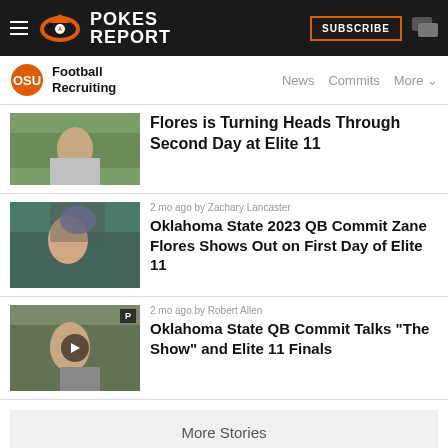Pokes Report
Football Recruiting
Flores is Turning Heads Through Second Day at Elite 11
2 mo ago by Zachary Lancaster
Oklahoma State 2023 QB Commit Zane Flores Shows Out on First Day of Elite 11
2 mo ago by Robert Allen
Oklahoma State QB Commit Talks "The Show" and Elite 11 Finals
More Stories
Photos (11 Total)